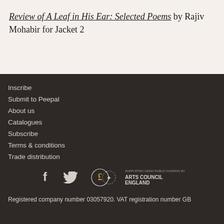Review of A Leaf in His Ear: Selected Poems by Rajiv Mohabir for Jacket 2
Inscribe
Submit to Peepal
About us
Catalogues
Subscribe
Terms & conditions
Trade distribution
[Figure (logo): Facebook icon, Twitter icon, and Arts Council England Lottery Funded logo]
Registered company number 03057920. VAT registration number GB